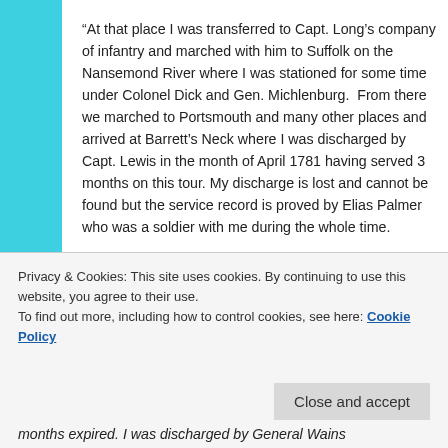“At that place I was transferred to Capt. Long’s company of infantry and marched with him to Suffolk on the Nansemond River where I was stationed for some time under Colonel Dick and Gen. Michlenburg. From there we marched to Portsmouth and many other places and arrived at Barrett’s Neck where I was discharged by Capt. Lewis in the month of April 1781 having served 3 months on this tour. My discharge is lost and cannot be found but the service record is proved by Elias Palmer who was a soldier with me during the whole time.
In the month of May 1781 I was drafted to serve my
Privacy & Cookies: This site uses cookies. By continuing to use this website, you agree to their use.
To find out more, including how to control cookies, see here: Cookie Policy
months expired. I was discharged by General Wains